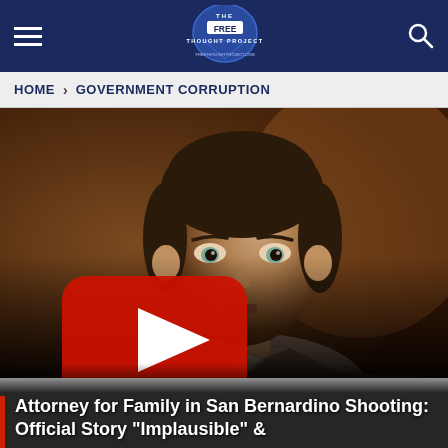THE FREE THOUGHT PROJECT — HOME > GOVERNMENT CORRUPTION
[Figure (photo): A man in a suit (attorney) speaking, with a YouTube play button overlay in the lower-left of the image. The background is warm brown/reddish tones. The man has dark hair and appears to be in his 30s-40s.]
Attorney for Family in San Bernardino Shooting: Official Story "Implausible" &